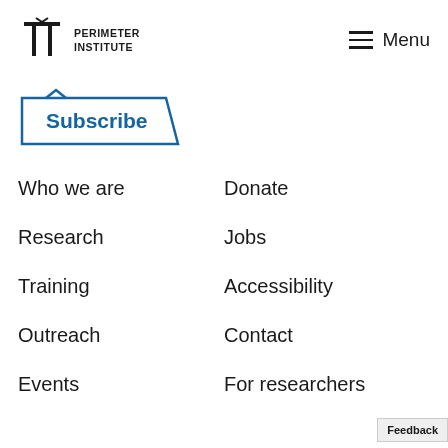[Figure (logo): Perimeter Institute logo with PI symbol and text]
Menu
[Figure (illustration): Subscribe button with parallelogram border and dropdown arrow]
Who we are
Donate
Research
Jobs
Training
Accessibility
Outreach
Contact
Events
For researchers
Feedback